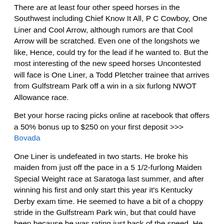There are at least four other speed horses in the Southwest including Chief Know It All, P C Cowboy, One Liner and Cool Arrow, although rumors are that Cool Arrow will be scratched. Even one of the longshots we like, Hence, could try for the lead if he wanted to. But the most interesting of the new speed horses Uncontested will face is One Liner, a Todd Pletcher trainee that arrives from Gulfstream Park off a win in a six furlong NWOT Allowance race.
Bet your horse racing picks online at racebook that offers a 50% bonus up to $250 on your first deposit >>> Bovada
One Liner is undefeated in two starts. He broke his maiden from just off the pace in a 5 1/2-furlong Maiden Special Weight race at Saratoga last summer, and after winning his first and only start this year it's Kentucky Derby exam time. He seemed to have a bit of a choppy stride in the Gulfstream Park win, but that could have been because he was rating just back of the speed. He looks like he has just enough pedigree to stretch out in the Southwest and he has enough natural speed to be on or near the lead, which should make it